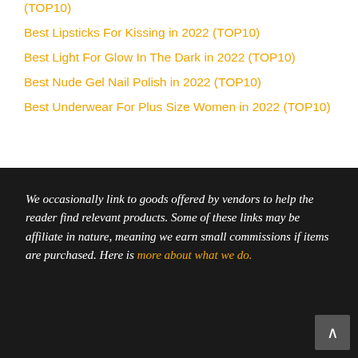(TOP10)
Best Lipsticks For Kissing in 2022 (TOP10)
Best Light For Glow In The Dark in 2022 (TOP10)
Best Nude Gel Nail Polish in 2022 (TOP10)
Best Underwear For Plus Size Women in 2022 (TOP10)
We occasionally link to goods offered by vendors to help the reader find relevant products. Some of these links may be affiliate in nature, meaning we earn small commissions if items are purchased. Here is more about what we do.